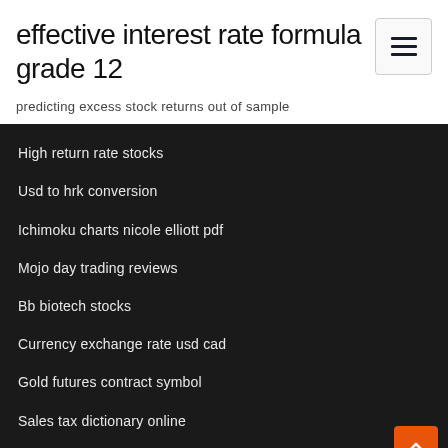effective interest rate formula grade 12
predicting excess stock returns out of sample
High return rate stocks
Usd to hrk conversion
Ichimoku charts nicole elliott pdf
Mojo day trading reviews
Bb biotech stocks
Currency exchange rate usd cad
Gold futures contract symbol
Sales tax dictionary online
Financial trade off synonym